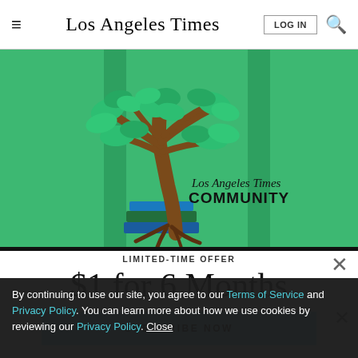Los Angeles Times
[Figure (illustration): Los Angeles Times Community illustration showing a green tree with brown trunk growing from stacked books (blue and green), with roots visible, on a green background. Text reads 'Los Angeles Times COMMUNITY' partially visible.]
LIMITED-TIME OFFER
$1 for 6 Months
SUBSCRIBE NOW
By continuing to use our site, you agree to our Terms of Service and Privacy Policy. You can learn more about how we use cookies by reviewing our Privacy Policy. Close